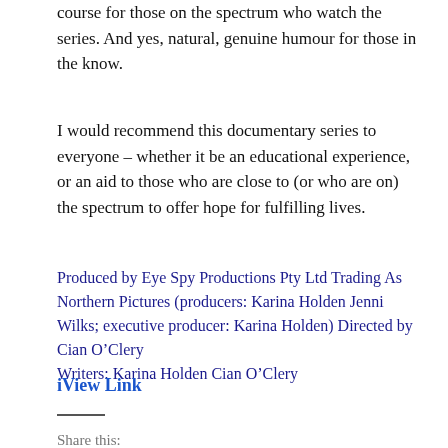course for those on the spectrum who watch the series. And yes, natural, genuine humour for those in the know.
I would recommend this documentary series to everyone – whether it be an educational experience, or an aid to those who are close to (or who are on) the spectrum to offer hope for fulfilling lives.
Produced by Eye Spy Productions Pty Ltd Trading As Northern Pictures (producers: Karina Holden Jenni Wilks; executive producer: Karina Holden) Directed by Cian O'Clery Writers: Karina Holden Cian O'Clery
iView Link
Share this: